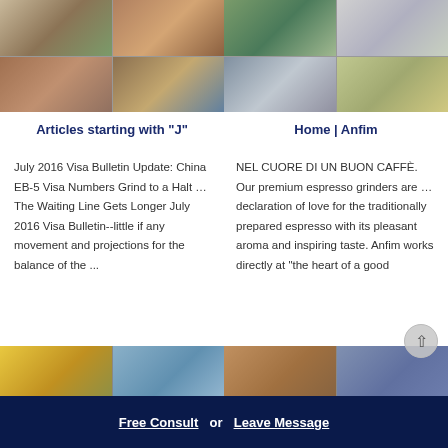[Figure (photo): Grid of 4 quarry/mining site photos showing excavators and industrial equipment]
[Figure (photo): Grid of 4 industrial plant/processing facility photos]
Articles starting with "J"
Home | Anfim
July 2016 Visa Bulletin Update: China EB-5 Visa Numbers Grind to a Halt … The Waiting Line Gets Longer July 2016 Visa Bulletin--little if any movement and projections for the balance of the ...
NEL CUORE DI UN BUON CAFFÈ. Our premium espresso grinders are … declaration of love for the traditionally prepared espresso with its pleasant aroma and inspiring taste. Anfim works directly at "the heart of a good
[Figure (photo): Two photos of quarry crushing/mining equipment]
[Figure (photo): Two photos of mining site operations with scroll-to-top button overlay]
Free Consult  or  Leave Message